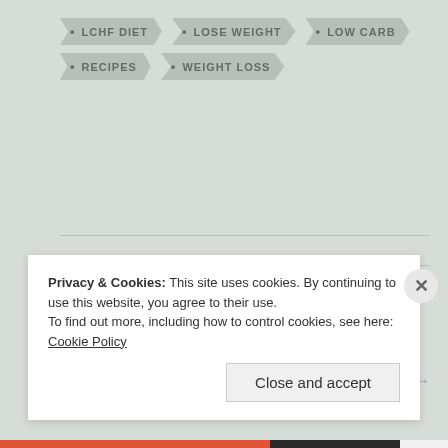LCHF DIET
LOSE WEIGHT
LOW CARB
RECIPES
WEIGHT LOSS
← Life's Lessons! Testing for Ketone-Bodies Part II...
A Dastardly Plot... →
Privacy & Cookies: This site uses cookies. By continuing to use this website, you agree to their use.
To find out more, including how to control cookies, see here: Cookie Policy
Close and accept